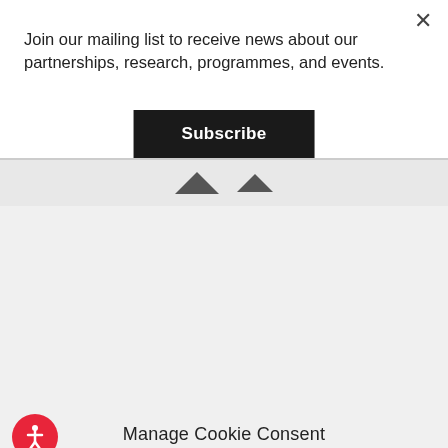Join our mailing list to receive news about our partnerships, research, programmes, and events.
Subscribe
[Figure (screenshot): Navigation arrows pointing upward]
Manage Cookie Consent
We use cookies to optimise our website and our service.
ACCEPT COOKIES
DENY
VIEW PREFERENCES
[Figure (illustration): Accessibility person icon in red circle]